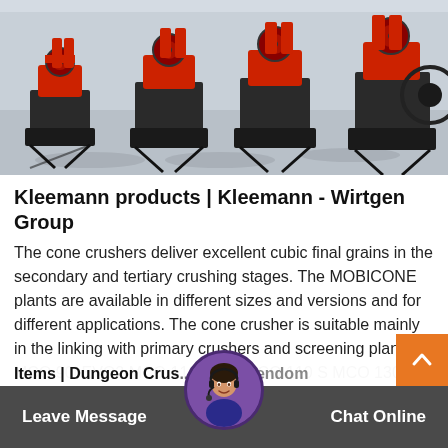[Figure (photo): Industrial factory floor with rows of large red and black cone crusher machines on metal frames, viewed from an angle showing multiple units lined up.]
Kleemann products | Kleemann - Wirtgen Group
The cone crushers deliver excellent cubic final grains in the secondary and tertiary crushing stages. The MOBICONE plants are available in different sizes and versions and for different applications. The cone crusher is suitable mainly in the linking with primary crushers and screening plants. MCO 90i EVO2 MCO 110i PRO MCO 110 S MCO 130 MCO 130 S
Items | Dungeon Crus... ...kia | Fendom
Leave Message   Chat Online